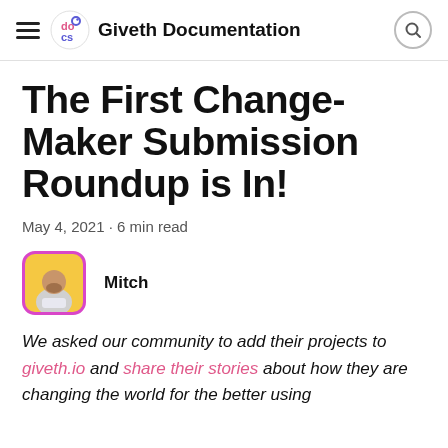Giveth Documentation
The First Change-Maker Submission Roundup is In!
May 4, 2021 · 6 min read
Mitch
We asked our community to add their projects to giveth.io and share their stories about how they are changing the world for the better using